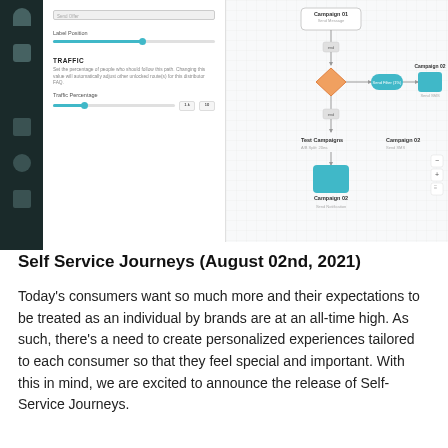[Figure (screenshot): A software interface screenshot showing a settings panel on the left with a dark sidebar, controls for Label Position (with a slider), a TRAFFIC section with description and Traffic Percentage slider. On the right is a flowchart/journey builder showing Campaign 01 (Send Message), a decision diamond, Send Filter node, Campaign 02 (Send SMS), Test Campaigns, and Campaign 02 (Send SMS) nodes connected by arrows.]
Self Service Journeys (August 02nd, 2021)
Today's consumers want so much more and their expectations to be treated as an individual by brands are at an all-time high. As such, there's a need to create personalized experiences tailored to each consumer so that they feel special and important. With this in mind, we are excited to announce the release of Self-Service Journeys.